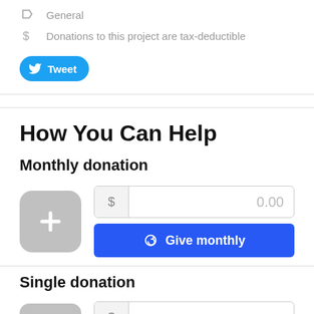General
Donations to this project are tax-deductible
[Figure (other): Tweet button with Twitter bird icon]
How You Can Help
Monthly donation
[Figure (other): Monthly donation input area with plus button, dollar amount field showing 0.00, and Give monthly button]
Single donation
[Figure (other): Single donation input area with plus button and dollar amount field (partially visible)]